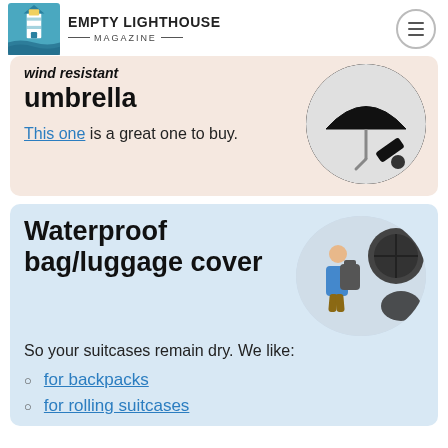Empty Lighthouse Magazine
wind resistant umbrella — This one is a great one to buy.
Waterproof bag/luggage cover
So your suitcases remain dry. We like:
for backpacks
for rolling suitcases